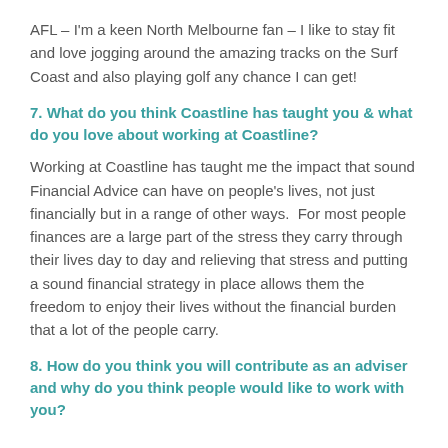AFL – I'm a keen North Melbourne fan – I like to stay fit and love jogging around the amazing tracks on the Surf Coast and also playing golf any chance I can get!
7. What do you think Coastline has taught you & what do you love about working at Coastline?
Working at Coastline has taught me the impact that sound Financial Advice can have on people's lives, not just financially but in a range of other ways.  For most people finances are a large part of the stress they carry through their lives day to day and relieving that stress and putting a sound financial strategy in place allows them the freedom to enjoy their lives without the financial burden that a lot of the people carry.
8. How do you think you will contribute as an adviser and why do you think people would like to work with you?